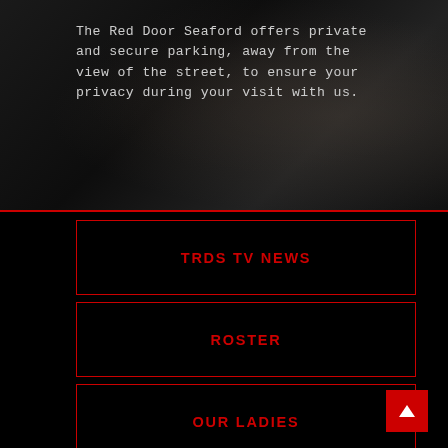The Red Door Seaford offers private and secure parking, away from the view of the street, to ensure your privacy during your visit with us.
TRDS TV NEWS
ROSTER
OUR LADIES